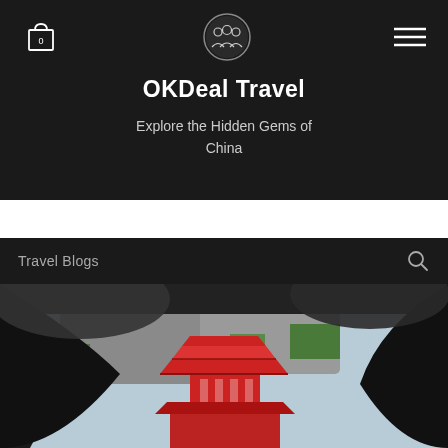OKDeal Travel
Explore the Hidden Gems of China
Travel Blogs
[Figure (photo): View through a cave/rock arch opening showing a red traditional Chinese temple/pagoda structure with dramatic rocky cliffs and green trees in the background, seen from inside a dark rocky overhang.]